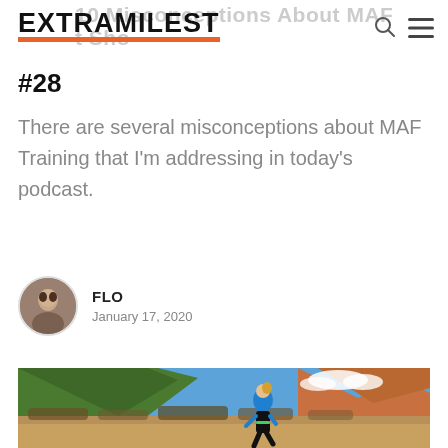EXTRAMILESТ
#28
There are several misconceptions about MAF Training that I'm addressing in today's podcast.
FLO
January 17, 2020
[Figure (photo): Woman running in blue jacket through an open field with rocky hills and blue sky in the background]